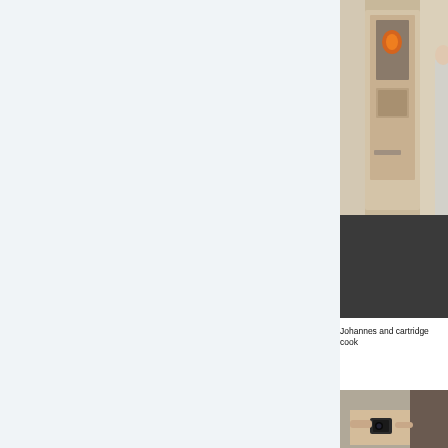[Figure (photo): Person standing in front of a doorway with a glass-paneled door showing a warm orange light inside. The exterior appears to be a white-painted building entrance with a dark paved area in front.]
Johannes and cartridge cook
[Figure (photo): Partial view of a person holding a small device or camera, photographed indoors near a doorway.]